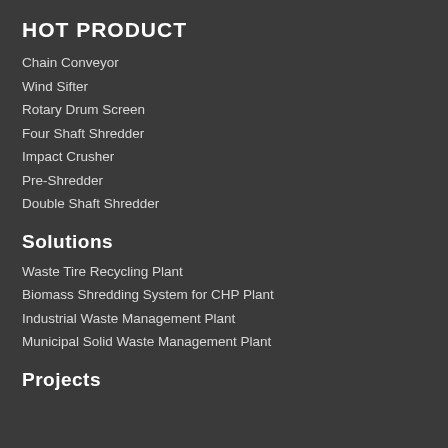HOT PRODUCT
Chain Conveyor
Wind Sifter
Rotary Drum Screen
Four Shaft Shredder
Impact Crusher
Pre-Shredder
Double Shaft Shredder
Solutions
Waste Tire Recycling Plant
Biomass Shredding System for CHP Plant
Industrial Waste Management Plant
Municipal Solid Waste Management Plant
Projects